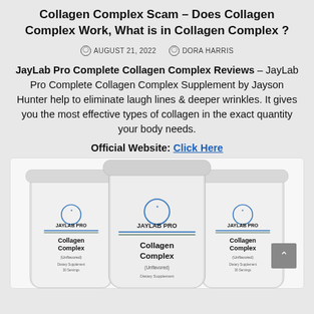Collagen Complex Scam – Does Collagen Complex Work, What is in Collagen Complex ?
AUGUST 21, 2022   DORA HARRIS
JayLab Pro Complete Collagen Complex Reviews – JayLab Pro Complete Collagen Complex Supplement by Jayson Hunter help to eliminate laugh lines & deeper wrinkles. It gives you the most effective types of collagen in the exact quantity your body needs.
Official Website: Click Here
[Figure (photo): Three white supplement containers labeled JayLab Pro Collagen Complex (Unflavored), Dietary Supplement 30 Servings, displayed side by side with the front container slightly forward.]